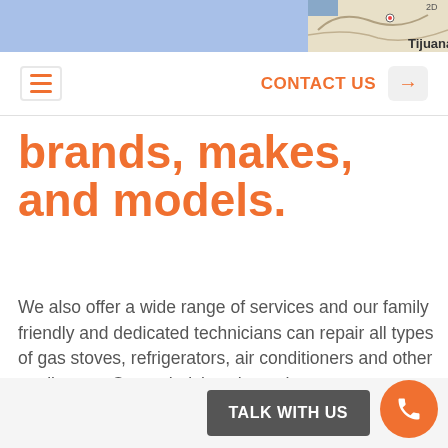[Figure (screenshot): Top banner with light blue background and partial map snippet showing 'Tijuana' label]
CONTACT US →
brands, makes, and models.
We also offer a wide range of services and our family friendly and dedicated technicians can repair all types of gas stoves, refrigerators, air conditioners and other appliances. Our technicians have the necessary training and certification to get your furnace back in top condition. All our expert repair services can be carried out by our experts and repair technicians without any problems.
TALK WITH US